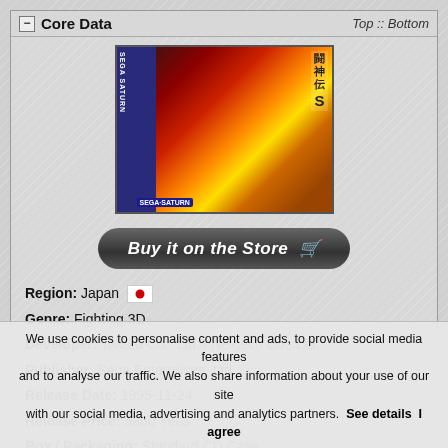Core Data
[Figure (photo): Game box art for a Sega Saturn fighting game, showing characters and Japanese text]
Buy it on the Store 🛒
Region: Japan 🔴
Genre: Fighting 3D
Developer: Takara Co., Ltd. / Nextech Co., Ltd.
Publisher: Sega Enterprises, Ltd.
Release Date: 1995-11-24
Release Price: 5800 Yens
Box / Packaging: Standard CD Case
Number of Players: 1~2 (Simultaneous)
Age Rating: 推奨年齢
We use cookies to personalise content and ads, to provide social media features and to analyse our traffic. We also share information about your use of our site with our social media, advertising and analytics partners. See details  I agree